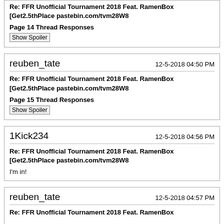Re: FFR Unofficial Tournament 2018 Feat. RamenBox [Get2.5thPlace pastebin.com/tvm28W8
Page 14 Thread Responses
[Show Spoiler]
reuben_tate
12-5-2018 04:50 PM
Re: FFR Unofficial Tournament 2018 Feat. RamenBox [Get2.5thPlace pastebin.com/tvm28W8
Page 15 Thread Responses
[Show Spoiler]
1Kick234
12-5-2018 04:56 PM
Re: FFR Unofficial Tournament 2018 Feat. RamenBox [Get2.5thPlace pastebin.com/tvm28W8
I'm in!
reuben_tate
12-5-2018 04:57 PM
Re: FFR Unofficial Tournament 2018 Feat. RamenBox